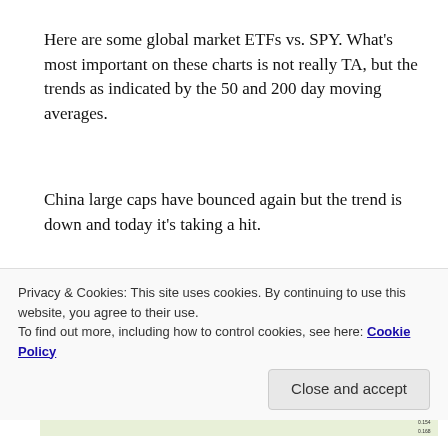Here are some global market ETFs vs. SPY. What's most important on these charts is not really TA, but the trends as indicated by the 50 and 200 day moving averages.
China large caps have bounced again but the trend is down and today it's taking a hit.
[Figure (continuous-plot): FXI:SPY iShares China Large Cap ETF/SPDR S&P 500 ETF NYSE+BATS stock chart showing daily candlestick data with 50 and 200 day moving averages. Header shows: 25-Jun-2019 10:36am, Open 0.144, High 0.144, Low 0.143, Last 0.142, Chg -0.001 (-0.99%). Y-axis values range from approximately 0.148 to 0.168. StockCharts.com watermark.]
Privacy & Cookies: This site uses cookies. By continuing to use this website, you agree to their use.
To find out more, including how to control cookies, see here: Cookie Policy
Close and accept